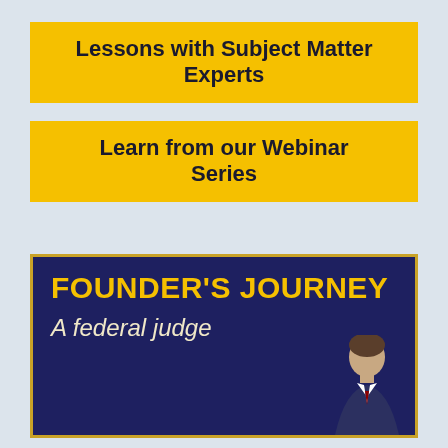Lessons with Subject Matter Experts
Learn from our Webinar Series
[Figure (illustration): Dark navy blue promotional banner with gold border titled FOUNDER'S JOURNEY with subtitle text 'A federal judge' and a partial photo of a person in the bottom right corner]